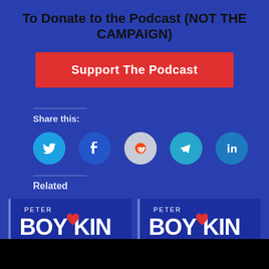To Donate to the Podcast (NOT THE CAMPAIGN)
Support The Podcast
Share this:
[Figure (infographic): Five social media share buttons in circular icons: Twitter (cyan), Facebook (blue), Reddit (light grey), Telegram (teal), LinkedIn (blue)]
Related
[Figure (illustration): Peter Boykin for Congress campaign logo image — left thumbnail]
BIDEN GETS STOOD UP
[Figure (illustration): Peter Boykin for Congress campaign logo image — right thumbnail]
EVERYONE HATES